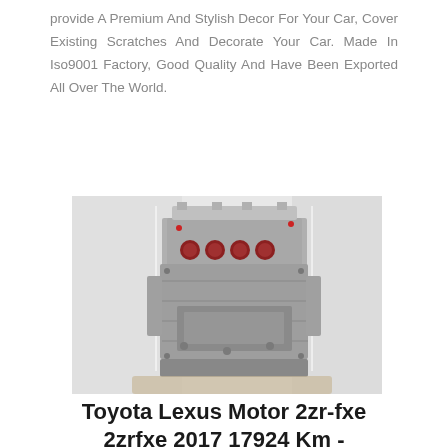provide A Premium And Stylish Decor For Your Car, Cover Existing Scratches And Decorate Your Car. Made In Iso9001 Factory, Good Quality And Have Been Exported All Over The World.
[Figure (photo): Photograph of a Toyota Lexus 2ZR-FXE engine block (bare engine without accessories), front view showing intake ports with red/maroon colored components, set against a white background.]
Toyota Lexus Motor 2zr-fxe 2zrfxe 2017 17924 Km -